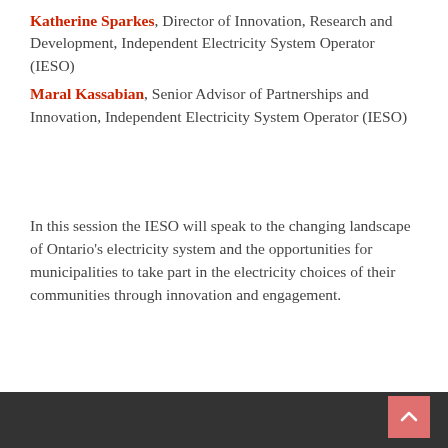Katherine Sparkes, Director of Innovation, Research and Development, Independent Electricity System Operator (IESO)
Maral Kassabian, Senior Advisor of Partnerships and Innovation, Independent Electricity System Operator (IESO)
In this session the IESO will speak to the changing landscape of Ontario's electricity system and the opportunities for municipalities to take part in the electricity choices of their communities through innovation and engagement.
Back to top